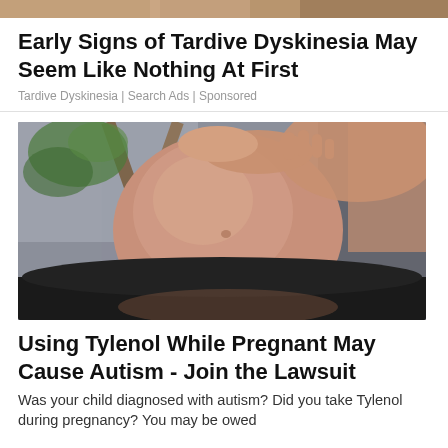[Figure (photo): Top strip showing partial image, cropped at top of page]
Early Signs of Tardive Dyskinesia May Seem Like Nothing At First
Tardive Dyskinesia | Search Ads | Sponsored
[Figure (photo): Close-up photograph of a pregnant woman holding her bare baby bump with both hands, wearing black pants. A wooden easel and green plant are visible in the background.]
Using Tylenol While Pregnant May Cause Autism - Join the Lawsuit
Was your child diagnosed with autism? Did you take Tylenol during pregnancy? You may be owed